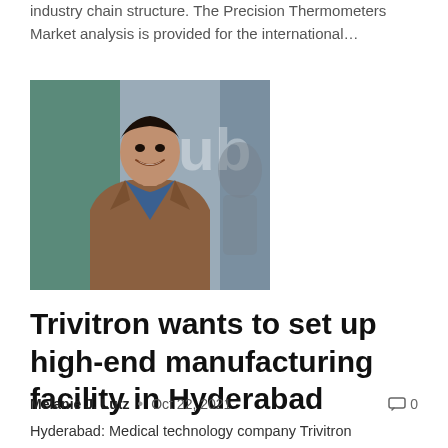industry chain structure. The Precision Thermometers Market analysis is provided for the international…
[Figure (photo): Portrait photo of a man in a brown blazer and blue shirt, smiling, with a blurred background showing partial text and a globe/map graphic.]
Trivitron wants to set up high-end manufacturing facility in Hyderabad
Melanie J. Lutz • Oct 22, 2021  🗨 0
Hyderabad: Medical technology company Trivitron Healthcare manufactures and distributes products in more than 170 countries. With 13 FDA and CE certified manufacturing facilities in the United